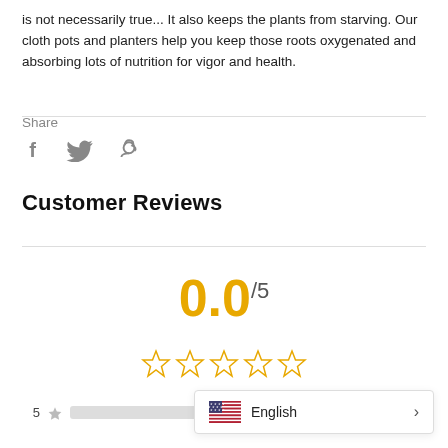is not necessarily true... It also keeps the plants from starving. Our cloth pots and planters help you keep those roots oxygenated and absorbing lots of nutrition for vigor and health.
Share
[Figure (illustration): Social share icons: Facebook (f), Twitter (bird), Pinterest (p) in gray]
Customer Reviews
0.0/5
[Figure (other): Five empty star ratings in gold outline]
5 ★ [bar] 0
[Figure (other): English language selector popup with US flag]